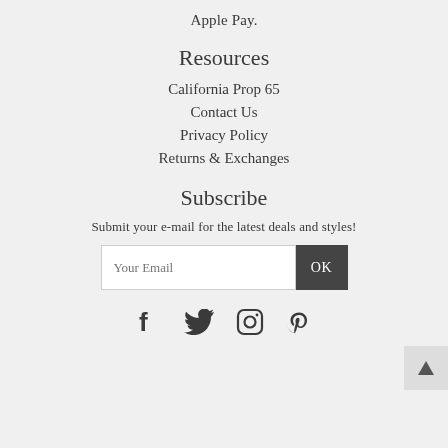Apple Pay.
Resources
California Prop 65
Contact Us
Privacy Policy
Returns & Exchanges
Subscribe
Submit your e-mail for the latest deals and styles!
[Figure (other): Email subscription input box with placeholder 'Your Email' and OK button]
[Figure (other): Social media icons row: Facebook, Twitter, Instagram, Pinterest]
[Figure (other): Scroll to top button with upward arrow triangle]